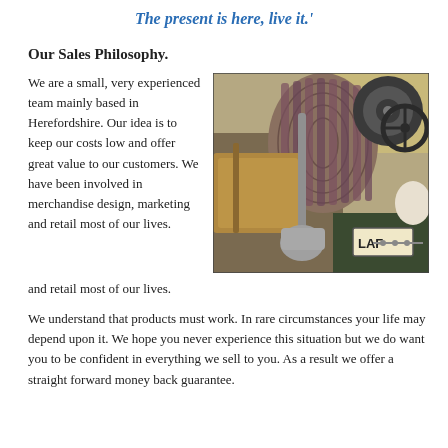The present is here, live it.'
Our Sales Philosophy.
We are a small, very experienced team mainly based in Herefordshire. Our idea is to keep our costs low and offer great value to our customers. We have been involved in merchandise design, marketing and retail most of our lives.
[Figure (photo): Interior of a vintage military jeep loaded with gear including coiled rope, canvas bags, a shovel, and a spare wheel. A license plate reading 'LAF' is visible.]
We understand that products must work. In rare circumstances your life may depend upon it. We hope you never experience this situation but we do want you to be confident in everything we sell to you. As a result we offer a straight forward money back guarantee.